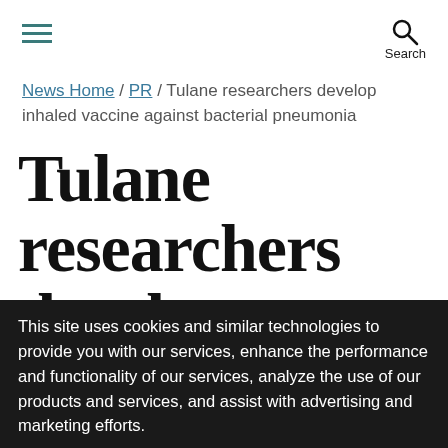☰ Search
News Home / PR / Tulane researchers develop inhaled vaccine against bacterial pneumonia
Tulane researchers develop inhaled vaccine against
This site uses cookies and similar technologies to provide you with our services, enhance the performance and functionality of our services, analyze the use of our products and services, and assist with advertising and marketing efforts.